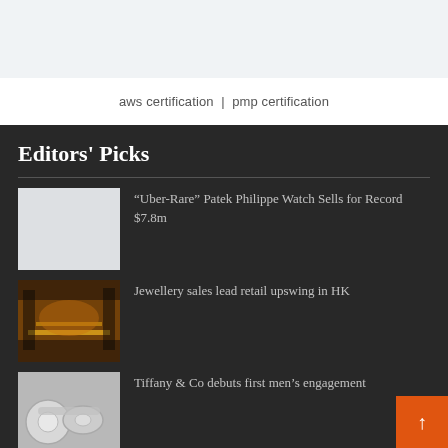[Figure (other): Light gray banner/advertisement placeholder at the top of the page]
aws certification | pmp certification
Editors' Picks
[Figure (photo): Light gray placeholder image for Patek Philippe watch article]
“Uber-Rare” Patek Philippe Watch Sells for Record $7.8m
[Figure (photo): Street scene photo with yellow road markings and warm orange light, Hong Kong]
Jewellery sales lead retail upswing in HK
[Figure (photo): Silver rings photo for Tiffany & Co article]
Tiffany & Co debuts first men’s engagement